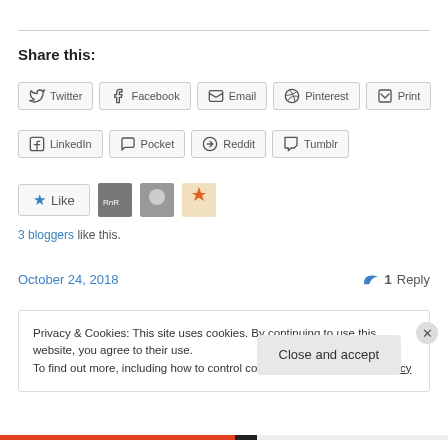Share this:
Twitter
Facebook
Email
Pinterest
Print
LinkedIn
Pocket
Reddit
Tumblr
3 bloggers like this.
October 24, 2018   1 Reply
Privacy & Cookies: This site uses cookies. By continuing to use this website, you agree to their use.
To find out more, including how to control cookies, see here: Cookie Policy